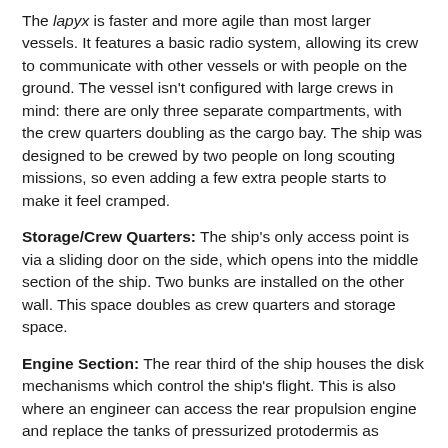The lapyx is faster and more agile than most larger vessels. It features a basic radio system, allowing its crew to communicate with other vessels or with people on the ground. The vessel isn't configured with large crews in mind: there are only three separate compartments, with the crew quarters doubling as the cargo bay. The ship was designed to be crewed by two people on long scouting missions, so even adding a few extra people starts to make it feel cramped.
Storage/Crew Quarters: The ship's only access point is via a sliding door on the side, which opens into the middle section of the ship. Two bunks are installed on the other wall. This space doubles as crew quarters and storage space.
Engine Section: The rear third of the ship houses the disk mechanisms which control the ship's flight. This is also where an engineer can access the rear propulsion engine and replace the tanks of pressurized protodermis as necessary.
Bridge: The front third of the ship is the bridge, which